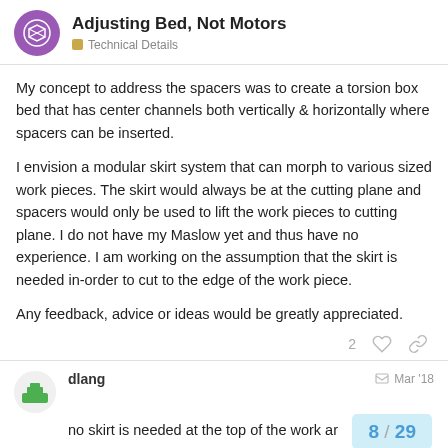Adjusting Bed, Not Motors | Technical Details
My concept to address the spacers was to create a torsion box bed that has center channels both vertically & horizontally where spacers can be inserted.
I envision a modular skirt system that can morph to various sized work pieces. The skirt would always be at the cutting plane and spacers would only be used to lift the work pieces to cutting plane. I do not have my Maslow yet and thus have no experience. I am working on the assumption that the skirt is needed in-order to cut to the edge of the work piece.
Any feedback, advice or ideas would be greatly appreciated.
dlang Mar '18
no skirt is needed at the top of the work ar